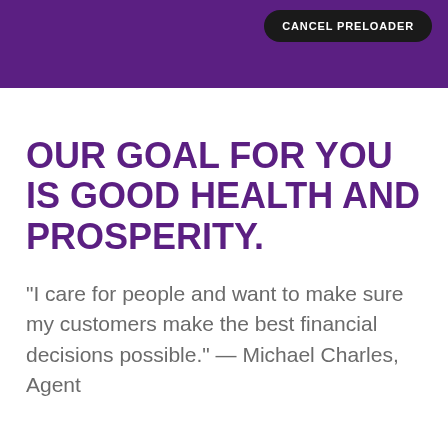CANCEL PRELOADER
OUR GOAL FOR YOU IS GOOD HEALTH AND PROSPERITY.
"I care for people and want to make sure my customers make the best financial decisions possible." — Michael Charles, Agent